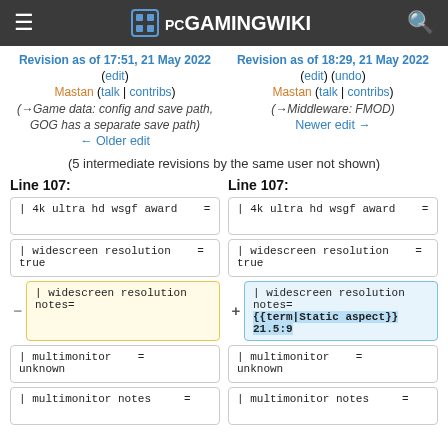PCGamingWiki
Revision as of 17:51, 21 May 2022 (edit)
Mastan (talk | contribs)
(→Game data: config and save path, GOG has a separate save path)
← Older edit
Revision as of 18:29, 21 May 2022 (edit) (undo)
Mastan (talk | contribs)
(→Middleware: FMOD)
Newer edit →
(5 intermediate revisions by the same user not shown)
Line 107:
Line 107:
| 4k ultra hd wsgf award    =
| 4k ultra hd wsgf award    =
| widescreen resolution    =
true
| widescreen resolution    =
true
| widescreen resolution notes=
| widescreen resolution notes=
{{term|Static aspect}} 21.5:9
| multimonitor    =
unknown
| multimonitor    =
unknown
| multimonitor notes    =
| multimonitor notes    =